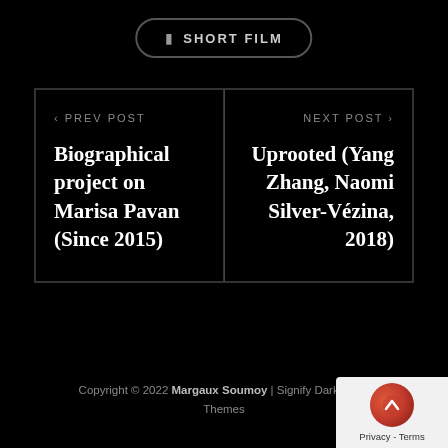SHORT FILM
< PREV POST
Biographical project on Marisa Pavan (Since 2015)
NEXT POST >
Uprooted (Yang Zhang, Naomi Silver-Vézina, 2018)
Copyright © 2022 Margaux Soumoy | Signify Dark By WP Themes